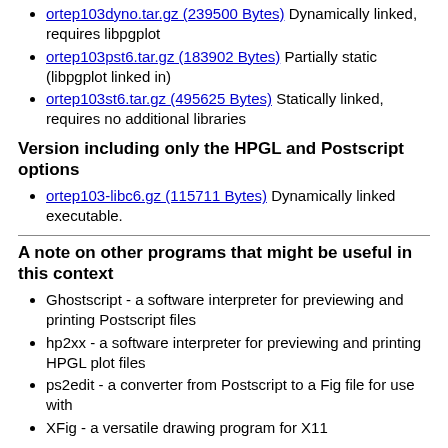ortep103dyno.tar.gz (239500 Bytes) Dynamically linked, requires libpgplot
ortep103pst6.tar.gz (183902 Bytes) Partially static (libpgplot linked in)
ortep103st6.tar.gz (495625 Bytes) Statically linked, requires no additional libraries
Version including only the HPGL and Postscript options
ortep103-libc6.gz (115711 Bytes) Dynamically linked executable.
A note on other programs that might be useful in this context
Ghostscript - a software interpreter for previewing and printing Postscript files
hp2xx - a software interpreter for previewing and printing HPGL plot files
ps2edit - a converter from Postscript to a Fig file for use with
XFig - a versatile drawing program for X11